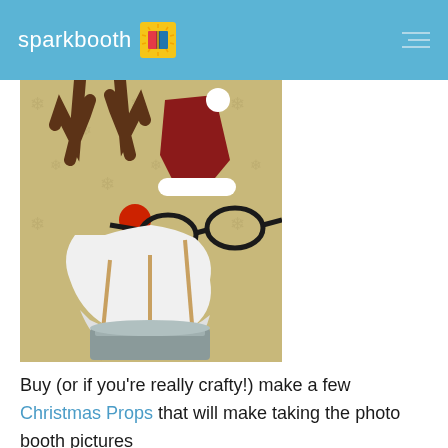sparkbooth
[Figure (photo): Christmas photo booth props including reindeer antlers, Santa hat, white beard, red nose, and black glasses on sticks, arranged in a small metal bucket against a gold snowflake wallpaper background]
Buy (or if you're really crafty!) make a few Christmas Props that will make taking the photo booth pictures